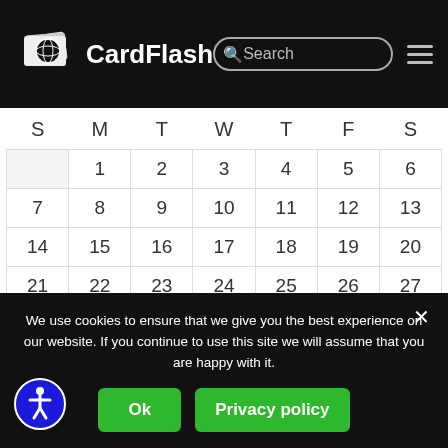CardFlash
| S | M | T | W | T | F | S |
| --- | --- | --- | --- | --- | --- | --- |
|  | 1 | 2 | 3 | 4 | 5 | 6 |
| 7 | 8 | 9 | 10 | 11 | 12 | 13 |
| 14 | 15 | 16 | 17 | 18 | 19 | 20 |
| 21 | 22 | 23 | 24 | 25 | 26 | 27 |
| 28 | 29 | 30 | 31 |  |  |  |
« Aug
We use cookies to ensure that we give you the best experience on our website. If you continue to use this site we will assume that you are happy with it.